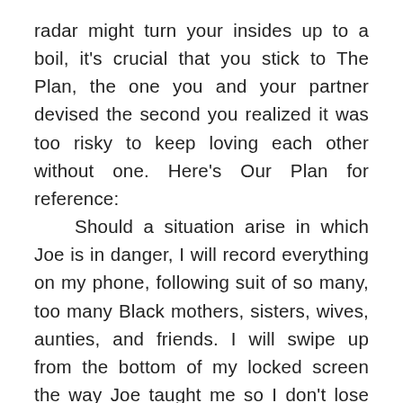radar might turn your insides up to a boil, it's crucial that you stick to The Plan, the one you and your partner devised the second you realized it was too risky to keep loving each other without one. Here's Our Plan for reference:
    Should a situation arise in which Joe is in danger, I will record everything on my phone, following suit of so many, too many Black mothers, sisters, wives, aunties, and friends. I will swipe up from the bottom of my locked screen the way Joe taught me so I don't lose time entering my six-digit security code. With my phone in hand, I will place my white body in front of Joe's Black body like a shield. I will let my white tears hit the ground like bombs. Joe will shapeshift. He will get small. He will make his six feet and three inches as close to invisible, impenetrable as possible. Joe won't say a word.